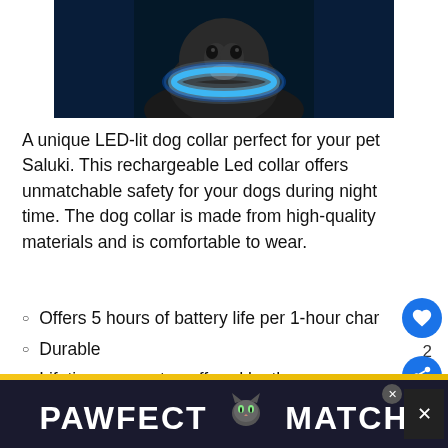[Figure (photo): A dog wearing an LED-lit collar glowing blue, photographed against a dark blue background. The collar emits a bright blue halo of light around the dog's neck.]
A unique LED-lit dog collar perfect for your pet Saluki. This rechargeable Led collar offers unmatchable safety for your dogs during night time. The dog collar is made from high-quality materials and is comfortable to wear.
Offers 5 hours of battery life per 1-hour char
Durable
Lifetime guarantee offered by the m
[Figure (advertisement): PAWFECT MATCH advertisement banner with a cat face icon, shown on a dark navy background.]